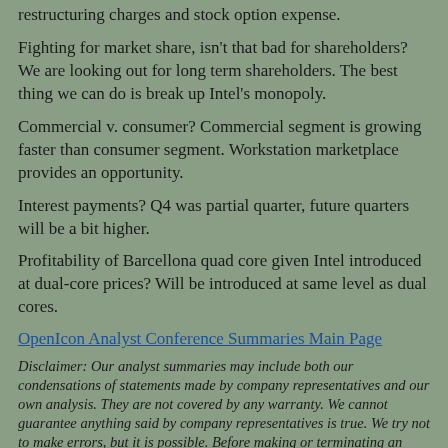restructuring charges and stock option expense.
Fighting for market share, isn't that bad for shareholders? We are looking out for long term shareholders. The best thing we can do is break up Intel's monopoly.
Commercial v. consumer? Commercial segment is growing faster than consumer segment. Workstation marketplace provides an opportunity.
Interest payments? Q4 was partial quarter, future quarters will be a bit higher.
Profitability of Barcellona quad core given Intel introduced at dual-core prices? Will be introduced at same level as dual cores.
OpenIcon Analyst Conference Summaries Main Page
Disclaimer: Our analyst summaries may include both our condensations of statements made by company representatives and our own analysis. They are not covered by any warranty. We cannot guarantee anything said by company representatives is true. We try not to make errors, but it is possible. Before making or terminating an investment you should always verify any factual basis of your decision.
Copyright 2007 William P. Meyers